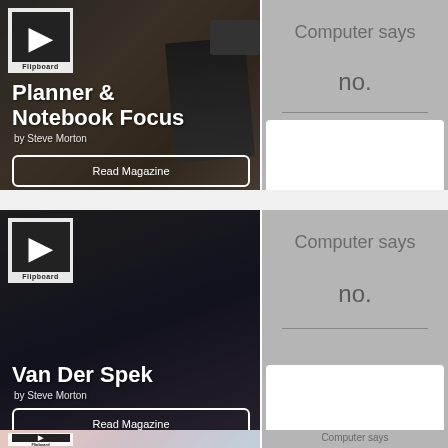[Figure (screenshot): Flipboard magazine card: Planner & Notebook Focus, by Steve Morton, with Read Magazine button]
[Figure (screenshot): Grey panel with 'Computer says no.' text]
[Figure (screenshot): Flipboard magazine card: Van Der Spek, by Steve Morton, with Read Magazine button]
[Figure (screenshot): Grey panel with 'Computer says no.' text and white box]
[Figure (screenshot): Partial Flipboard magazine card at bottom]
Computer says
no.
Computer says
no.
Computer says